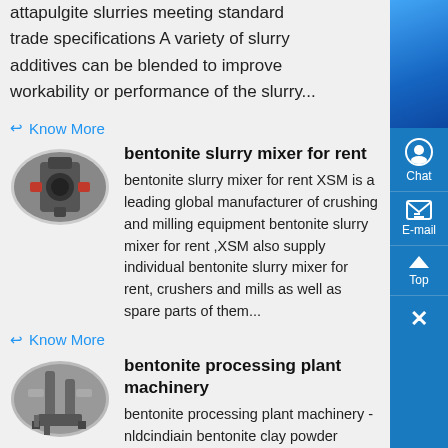attapulgite slurries meeting standard trade specifications A variety of slurry additives can be blended to improve workability or performance of the slurry...
Know More
[Figure (photo): Industrial machinery equipment photo in oval frame]
bentonite slurry mixer for rent
bentonite slurry mixer for rent XSM is a leading global manufacturer of crushing and milling equipment bentonite slurry mixer for rent ,XSM also supply individual bentonite slurry mixer for rent, crushers and mills as well as spare parts of them...
Know More
[Figure (photo): Industrial processing plant machinery photo in oval frame]
bentonite processing plant machinery
bentonite processing plant machinery - nldcindiain bentonite clay powder processing plant - crusher machine for